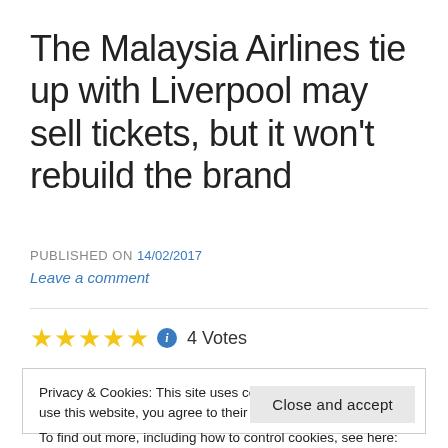The Malaysia Airlines tie up with Liverpool may sell tickets, but it won't rebuild the brand
PUBLISHED ON 14/02/2017
Leave a comment
★★★★★ ℹ 4 Votes
Privacy & Cookies: This site uses cookies. By continuing to use this website, you agree to their use.
To find out more, including how to control cookies, see here: Cookie Policy